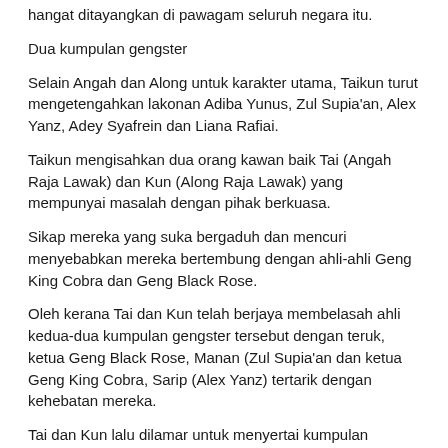hangat ditayangkan di pawagam seluruh negara itu.
Dua kumpulan gengster
Selain Angah dan Along untuk karakter utama, Taikun turut mengetengahkan lakonan Adiba Yunus, Zul Supia'an, Alex Yanz, Adey Syafrein dan Liana Rafiai.
Taikun mengisahkan dua orang kawan baik Tai (Angah Raja Lawak) dan Kun (Along Raja Lawak) yang mempunyai masalah dengan pihak berkuasa.
Sikap mereka yang suka bergaduh dan mencuri menyebabkan mereka bertembung dengan ahli-ahli Geng King Cobra dan Geng Black Rose.
Oleh kerana Tai dan Kun telah berjaya membelasah ahli kedua-dua kumpulan gengster tersebut dengan teruk, ketua Geng Black Rose, Manan (Zul Supia'an dan ketua Geng King Cobra, Sarip (Alex Yanz) tertarik dengan kehebatan mereka.
Tai dan Kun lalu dilamar untuk menyertai kumpulan gengster masing-masing oleh Manan dan Sarip.
Sikap tamak Tai dan Kun telah menyebabkan mereka menerima pelawaan kedua-dua Manan dan Sarip tanpa